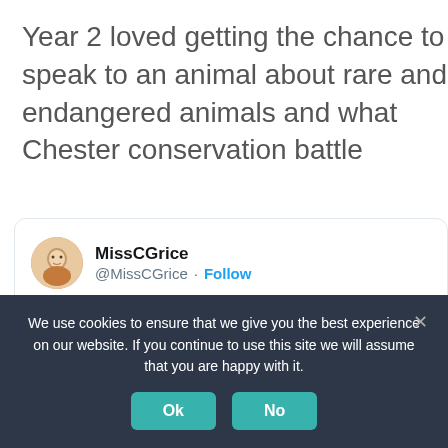Year 2 loved getting the chance to speak to an animal about rare and endangered animals and what Chester conservation battle
[Figure (screenshot): Tweet from @MissCGrice with profile avatar, username MissCGrice, handle @MissCGrice with Follow button. Tweet text: Today Year 2 took part in an interactive @cheste session about endangered animals in preparation new book “The Last Wolf” @MonksdownSchool @MissKScott1. Below tweet is a partial image.]
We use cookies to ensure that we give you the best experience on our website. If you continue to use this site we will assume that you are happy with it.